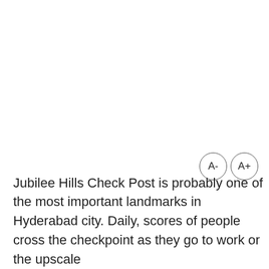[Figure (other): UI font size controls: two circular buttons labeled A- and A+]
Jubilee Hills Check Post is probably one of the most important landmarks in Hyderabad city. Daily, scores of people cross the checkpoint as they go to work or the upscale